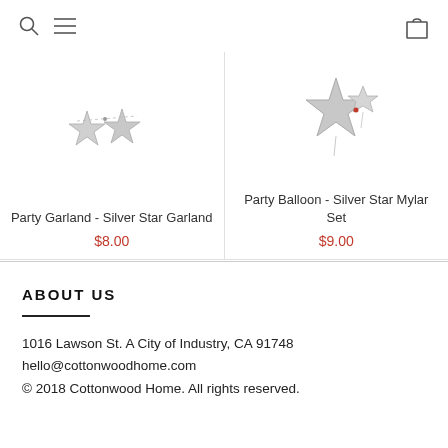Search | Menu | Cart
[Figure (photo): Product image: Party Garland - Silver Star Garland, showing silver star decorations]
Party Garland - Silver Star Garland
$8.00
[Figure (photo): Product image: Party Balloon - Silver Star Mylar Set, showing silver star mylar balloons]
Party Balloon - Silver Star Mylar Set
$9.00
ABOUT US
1016 Lawson St. A City of Industry, CA 91748
hello@cottonwoodhome.com
© 2018 Cottonwood Home. All rights reserved.